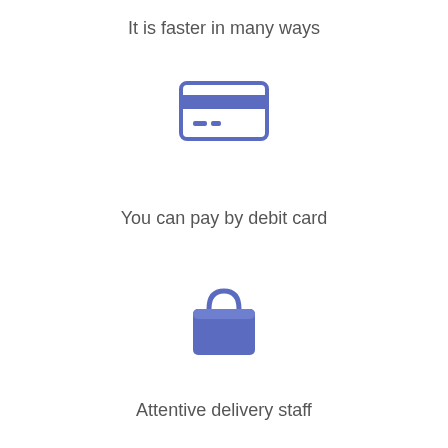It is faster in many ways
[Figure (illustration): Blue credit/debit card icon]
You can pay by debit card
[Figure (illustration): Blue shopping bag icon]
Attentive delivery staff